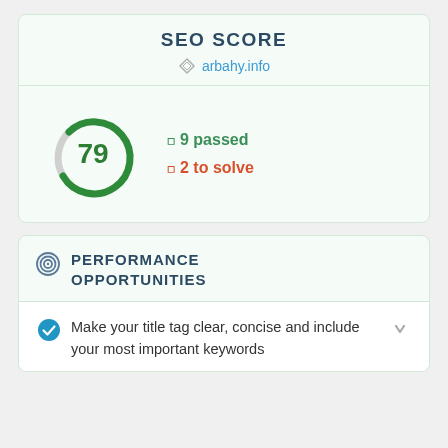SEO SCORE
arbahy.info
[Figure (other): Circular gauge showing score of 79 in green, with grey partial arc on left side]
✓ 9 passed
✗ 2 to solve
PERFORMANCE OPPORTUNITIES
Make your title tag clear, concise and include your most important keywords